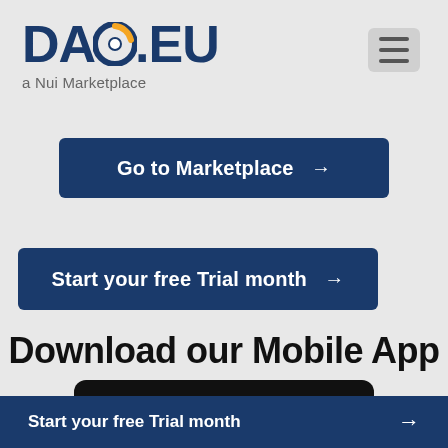[Figure (logo): DAO.EU logo with circular blue/yellow/white icon and subtitle 'a Nui Marketplace']
[Figure (other): Hamburger menu icon with three horizontal lines on grey rounded background]
Go to Marketplace →
Start your free Trial month →
Download our Mobile App
AppStore
Start your free Trial month →